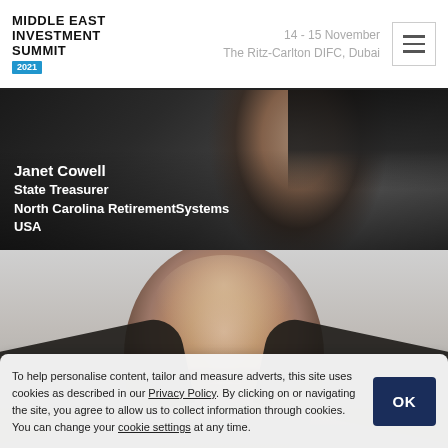MIDDLE EAST INVESTMENT SUMMIT 2021 | 14 - 15 November | The Ritz-Carlton DIFC, Dubai
[Figure (photo): Portrait photo of Janet Cowell, a woman with dark hair wearing a dark jacket and necklace, against a dark background. Overlay text identifies her as Janet Cowell, State Treasurer, North Carolina Retirement Systems, USA.]
[Figure (photo): Portrait photo of a bald older man looking slightly to the side, with a light grey background. His lower face and shoulders are partially cut off at the bottom of the frame.]
To help personalise content, tailor and measure adverts, this site uses cookies as described in our Privacy Policy. By clicking on or navigating the site, you agree to allow us to collect information through cookies. You can change your cookie settings at any time.